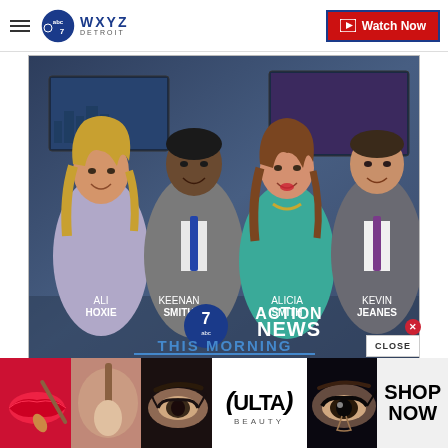WXYZ Detroit — Watch Now
[Figure (photo): Four news anchors (Ali Hoxie, Keenan Smith, Alicia Smith, Kevin Jeanes) posing in a TV news studio with city skyline backdrop. Overlaid text shows '7 Action News This Morning 4:30-7AM' logo.]
[Figure (advertisement): Ulta Beauty advertisement banner showing makeup/beauty product imagery and 'SHOP NOW' call to action, with a CLOSE button overlay.]